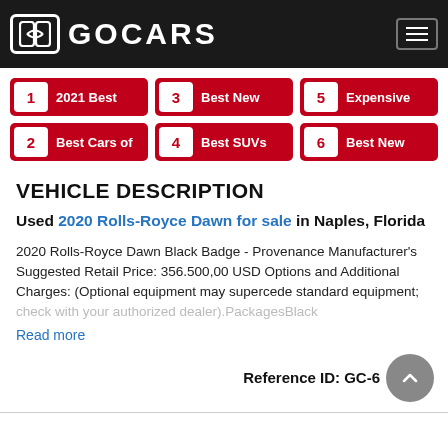GOCARS
1 2021 Best
3 Best New
5 Expensive
2 Best Cars of
4 Best SUVs
6 Best New
VEHICLE DESCRIPTION
Used 2020 Rolls-Royce Dawn for sale in Naples, Florida
2020 Rolls-Royce Dawn Black Badge - Provenance Manufacturer's Suggested Retail Price: 356.500,00 USD Options and Additional Charges: (Optional equipment may supercede standard equipment; check with your authorized dealer).PackagesBlack
Read more
Reference ID: GC-6...